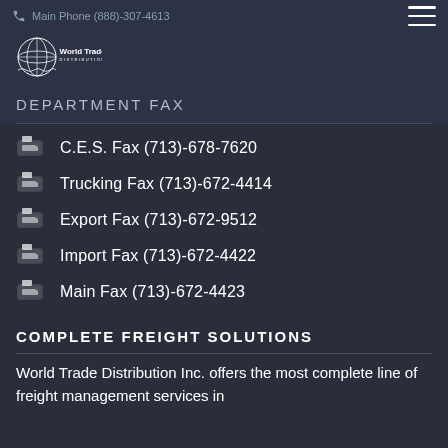Main Phone (888)-307-4613
[Figure (logo): World Trade Distribution Inc. logo with globe graphic]
DEPARTMENT FAX
C.E.S. Fax (713)-678-7620
Trucking Fax (713)-672-4414
Export Fax (713)-672-9512
Import Fax (713)-672-4422
Main Fax (713)-672-4423
COMPLETE FREIGHT SOLUTIONS
World Trade Distribution Inc. offers the most complete line of freight management services in